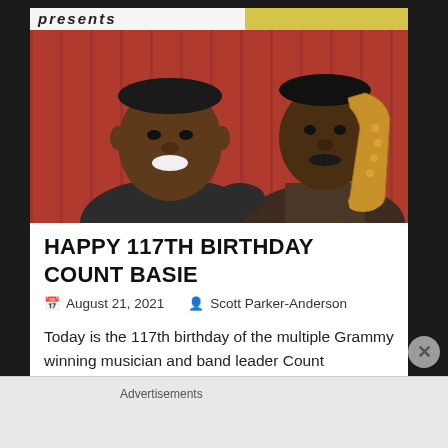[Figure (photo): Album cover photo showing two musicians — one smiling man in foreground and another man playing a saxophone — against a red wooden background. The word 'presents' is visible at the top in italic text.]
HAPPY 117TH BIRTHDAY COUNT BASIE
August 21, 2021   Scott Parker-Anderson
Today is the 117th birthday of the multiple Grammy winning musician and band leader Count
Advertisements